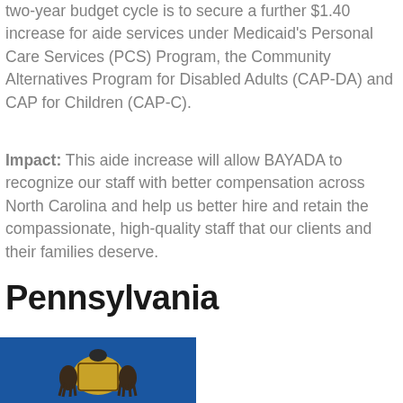two-year budget cycle is to secure a further $1.40 increase for aide services under Medicaid's Personal Care Services (PCS) Program, the Community Alternatives Program for Disabled Adults (CAP-DA) and CAP for Children (CAP-C).
Impact: This aide increase will allow BAYADA to recognize our staff with better compensation across North Carolina and help us better hire and retain the compassionate, high-quality staff that our clients and their families deserve.
Pennsylvania
[Figure (photo): Pennsylvania state flag on blue background with coat of arms featuring two horses and an eagle]